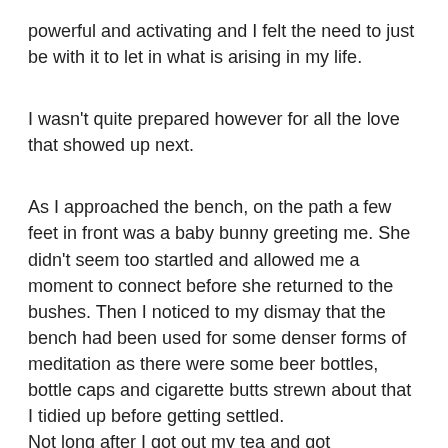powerful and activating and I felt the need to just be with it to let in what is arising in my life.
I wasn't quite prepared however for all the love that showed up next.
As I approached the bench, on the path a few feet in front was a baby bunny greeting me. She didn't seem too startled and allowed me a moment to connect before she returned to the bushes. Then I noticed to my dismay that the bench had been used for some denser forms of meditation as there were some beer bottles, bottle caps and cigarette butts strewn about that I tidied up before getting settled.
Not long after I got out my tea and got comfortable, and began speaking my new mantra aloud, feeling it move in me, I looked